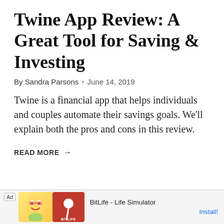Twine App Review: A Great Tool for Saving & Investing
By Sandra Parsons • June 14, 2019
Twine is a financial app that helps individuals and couples automate their savings goals. We'll explain both the pros and cons in this review.
READ MORE →
[Figure (other): Advertisement banner for BitLife - Life Simulator app with cartoon character, BitLife logo on red background, and Install button]